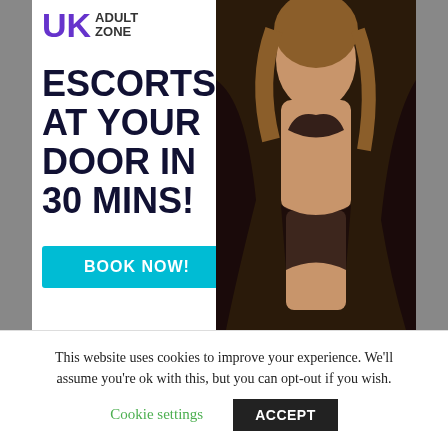[Figure (illustration): UK Adult Zone advertisement banner showing logo at top left reading 'UK ADULT ZONE', large bold text 'ESCORTS AT YOUR DOOR IN 30 MINS!', a cyan 'BOOK NOW!' button, and a photo of a woman in lingerie on the right side. Purple bar visible at top right corner.]
This website uses cookies to improve your experience. We'll assume you're ok with this, but you can opt-out if you wish.
Cookie settings
ACCEPT